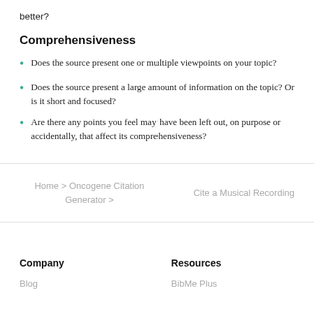better?
Comprehensiveness
Does the source present one or multiple viewpoints on your topic?
Does the source present a large amount of information on the topic? Or is it short and focused?
Are there any points you feel may have been left out, on purpose or accidentally, that affect its comprehensiveness?
Home > Oncogene Citation Generator >
Cite a Musical Recording
Company
Resources
Blog
BibMe Plus